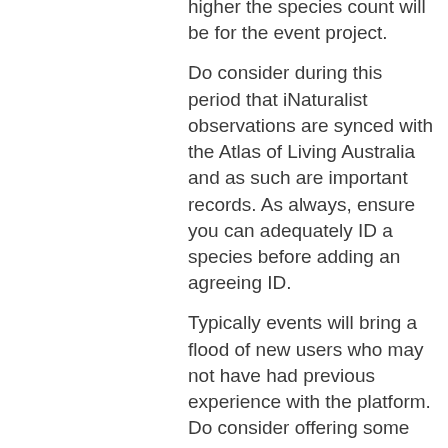higher the species count will be for the event project. Do consider during this period that iNaturalist observations are synced with the Atlas of Living Australia and as such are important records. As always, ensure you can adequately ID a species before adding an agreeing ID. Typically events will bring a flood of new users who may not have had previous experience with the platform. Do consider offering some guidance if observations are inappropriate or uploaded incorrectly. This may help to ensure some of these users continue to contribute observations to iNaturalist beyond the challenge